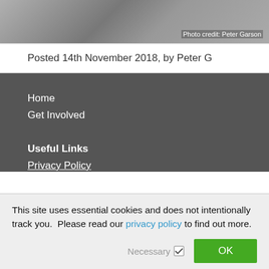[Figure (photo): Partial photo of people in a room, with a 'Photo credit: Peter Garson' watermark in the lower right corner.]
Photo credit: Peter Garson
Posted 14th November 2018, by Peter G
Home
Get Involved
Useful Links
Privacy Policy
This site uses essential cookies and does not intentionally track you.  Please read our privacy policy to find out more.
Necessary ☑
OK